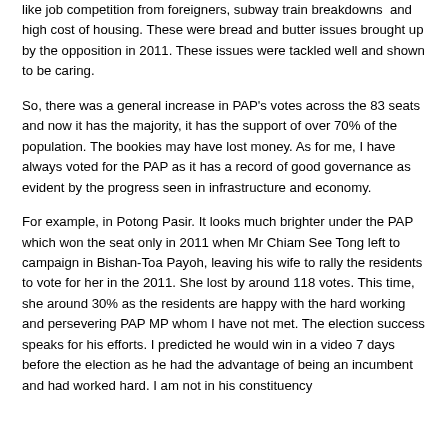like job competition from foreigners, subway train breakdowns  and high cost of housing. These were bread and butter issues brought up by the opposition in 2011. These issues were tackled well and shown to be caring.
So, there was a general increase in PAP's votes across the 83 seats and now it has the majority, it has the support of over 70% of the population. The bookies may have lost money. As for me, I have always voted for the PAP as it has a record of good governance as evident by the progress seen in infrastructure and economy.
For example, in Potong Pasir. It looks much brighter under the PAP which won the seat only in 2011 when Mr Chiam See Tong left to campaign in Bishan-Toa Payoh, leaving his wife to rally the residents to vote for her in the 2011. She lost by around 118 votes. This time, she around 30% as the residents are happy with the hard working and persevering PAP MP whom I have not met. The election success speaks for his efforts. I predicted he would win in a video 7 days before the election as he had the advantage of being an incumbent and had worked hard. I am not in his constituency